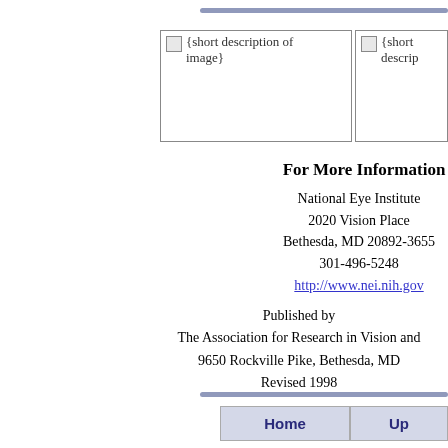[Figure (other): Placeholder image box with icon and text '{short description of image}']
[Figure (other): Partially visible placeholder image box with icon and text '{short descrip']
For More Information
National Eye Institute
2020 Vision Place
Bethesda, MD 20892-3655
301-496-5248
http://www.nei.nih.gov
Published by
The Association for Research in Vision and
9650 Rockville Pike, Bethesda, MD
Revised 1998
Home  Up